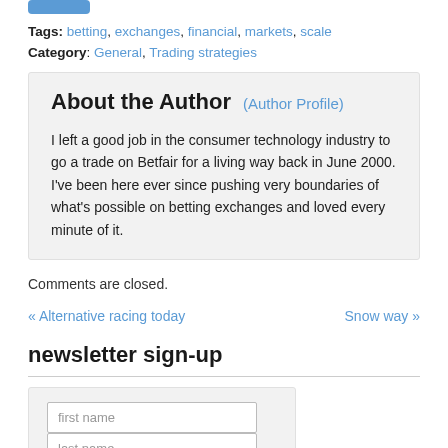Tags: betting, exchanges, financial, markets, scale
Category: General, Trading strategies
About the Author (Author Profile)
I left a good job in the consumer technology industry to go a trade on Betfair for a living way back in June 2000. I've been here ever since pushing very boundaries of what's possible on betting exchanges and loved every minute of it.
Comments are closed.
« Alternative racing today    Snow way »
newsletter sign-up
first name
last name